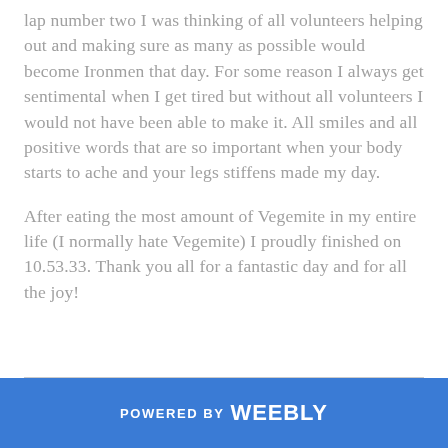lap number two I was thinking of all volunteers helping out and making sure as many as possible would become Ironmen that day. For some reason I always get sentimental when I get tired but without all volunteers I would not have been able to make it. All smiles and all positive words that are so important when your body starts to ache and your legs stiffens made my day.
After eating the most amount of Vegemite in my entire life (I normally hate Vegemite) I proudly finished on 10.53.33. Thank you all for a fantastic day and for all the joy!
POWERED BY weebly